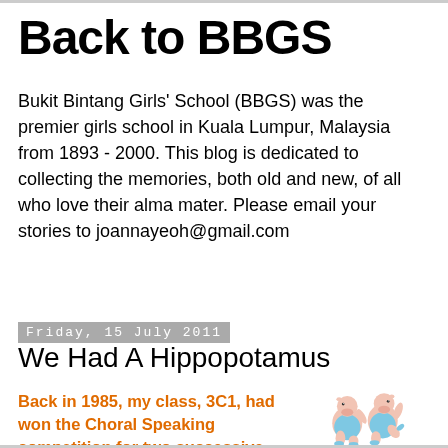Back to BBGS
Bukit Bintang Girls' School (BBGS) was the premier girls school in Kuala Lumpur, Malaysia from 1893 - 2000. This blog is dedicated to collecting the memories, both old and new, of all who love their alma mater. Please email your stories to joannayeoh@gmail.com
Friday, 15 July 2011
We Had A Hippopotamus
Back in 1985, my class, 3C1, had won the Choral Speaking competition for two successive years and we were desperate to make it a hattrick. We valiantly combed all the poetry books in the library and came up
[Figure (illustration): Two cartoon hippos dressed in blue leotards, appearing to dance or perform a choral/dance routine]